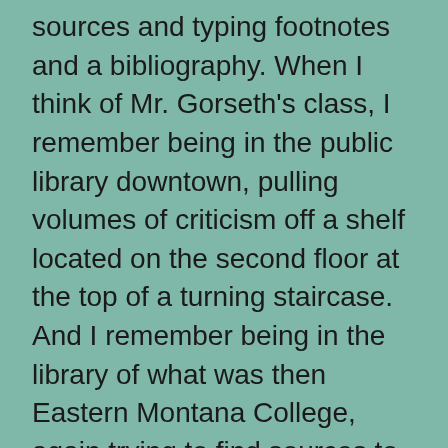sources and typing footnotes and a bibliography. When I think of Mr. Gorseth's class, I remember being in the public library downtown, pulling volumes of criticism off a shelf located on the second floor at the top of a turning staircase. And I remember being in the library of what was then Eastern Montana College, again trying to find sources to use in essays for Mr. Gorseth. I didn't really understand how to maximize my use of the outside sources, nor did I necessarily see how it was making my papers better to use other people's words, but I was going to fulfill Mr.